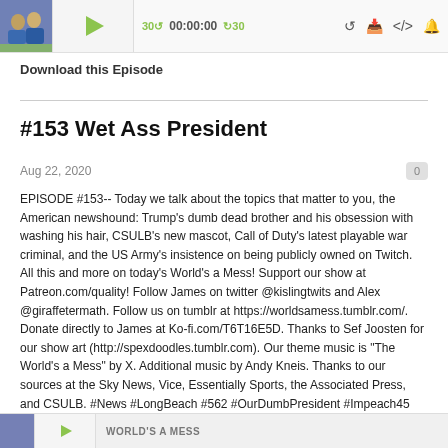[Figure (screenshot): Audio player with podcast thumbnail, play button, time controls showing 00:00:00, skip buttons, and media icons]
Download this Episode
#153 Wet Ass President
Aug 22, 2020
EPISODE #153-- Today we talk about the topics that matter to you, the American newshound: Trump's dumb dead brother and his obsession with washing his hair, CSULB's new mascot, Call of Duty's latest playable war criminal, and the US Army's insistence on being publicly owned on Twitch. All this and more on today's World's a Mess! Support our show at Patreon.com/quality! Follow James on twitter @kislingtwits and Alex @giraffetermath. Follow us on tumblr at https://worldsamess.tumblr.com/. Donate directly to James at Ko-fi.com/T6T16E5D. Thanks to Sef Joosten for our show art (http://spexdoodles.tumblr.com). Our theme music is "The World's a Mess" by X. Additional music by Andy Kneis. Thanks to our sources at the Sky News, Vice, Essentially Sports, the Associated Press, and CSULB. #News #LongBeach #562 #OurDumbPresident #Impeach45 #WarCrimes #CoD #OPBuild #CallOfDutyNews #DefenseNews #Internet
[Figure (screenshot): Bottom podcast player strip showing thumbnail, play button, and WORLD'S A MESS title text]